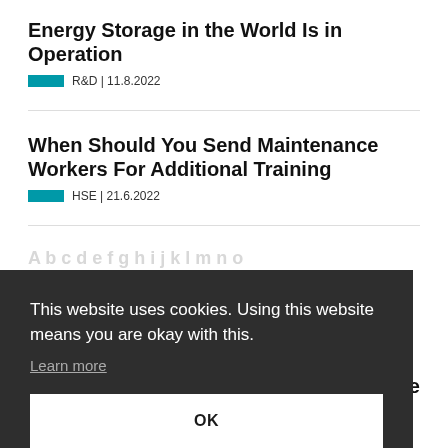Energy Storage in the World Is in Operation
R&D | 11.8.2022
When Should You Send Maintenance Workers For Additional Training
HSE | 21.6.2022
This website uses cookies. Using this website means you are okay with this.
Learn more
OK